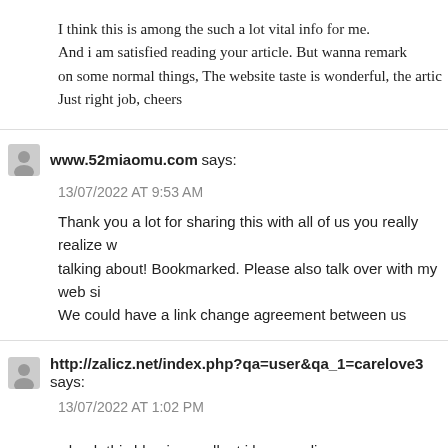I think this is among the such a lot vital info for me. And i am satisfied reading your article. But wanna remark on some normal things, The website taste is wonderful, the artic Just right job, cheers
www.52miaomu.com says:
13/07/2022 AT 9:53 AM
Thank you a lot for sharing this with all of us you really realize w talking about! Bookmarked. Please also talk over with my web si We could have a link change agreement between us
http://zalicz.net/index.php?qa=user&qa_1=carelove3 says:
13/07/2022 AT 1:02 PM
whooh this blog is excellent i love reading your